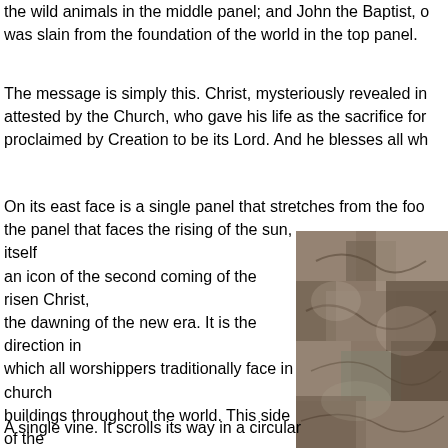the wild animals in the middle panel; and John the Baptist, o was slain from the foundation of the world in the top panel.
The message is simply this. Christ, mysteriously revealed in attested by the Church, who gave his life as the sacrifice for proclaimed by Creation to be its Lord. And he blesses all wh
On its east face is a single panel that stretches from the foo the panel that faces the rising of the sun, itself an icon of the second coming of the risen Christ, the dawning of the new era. It is the direction in which all worshippers traditionally face in church buildings throughout the world. This side of the cross, which looks towards the coming Christ, therefore expresses the hope of the second coming, the hope of all Creation. So what is in this panel?
[Figure (photo): A close-up photograph of a stone carving or relief, showing textured stone surface with carved details, appearing to be part of a cross or architectural element.]
A single vine. It scrolls its way in a circular